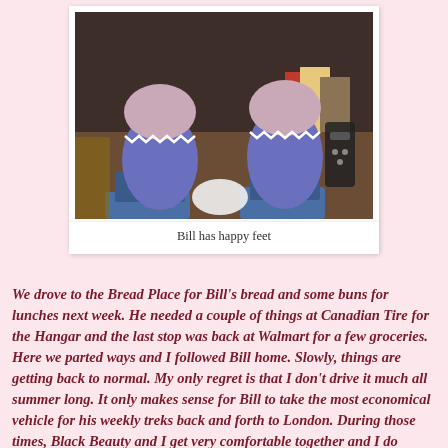[Figure (photo): A photo of two feet wearing blue and pink knitted socks resting on a wooden surface, with books and a remote visible in the background. Displayed as a Polaroid-style card.]
Bill has happy feet
We drove to the Bread Place for Bill’s bread and some buns for lunches next week. He needed a couple of things at Canadian Tire for the Hangar and the last stop was back at Walmart for a few groceries. Here we parted ways and I followed Bill home. Slowly, things are getting back to normal. My only regret is that I don’t drive it much all summer long. It only makes sense for Bill to take the most economical vehicle for his weekly treks back and forth to London. During those times, Black Beauty and I get very comfortable together and I do